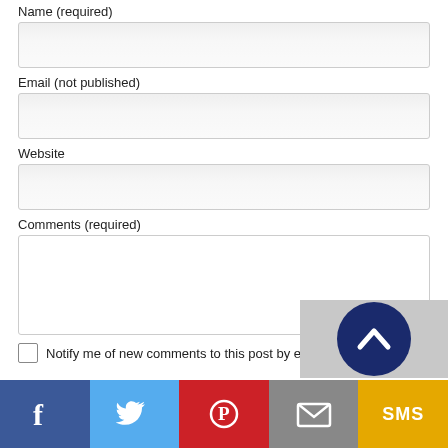Name (required)
[Figure (other): Text input field for Name]
Email (not published)
[Figure (other): Text input field for Email]
Website
[Figure (other): Text input field for Website]
Comments (required)
[Figure (other): Textarea for Comments]
Notify me of new comments to this post by email
[Figure (other): Scroll to top button - dark blue circle with upward arrow, over gray background]
[Figure (other): Social sharing bar with Facebook, Twitter, Pinterest, Email, and SMS buttons]